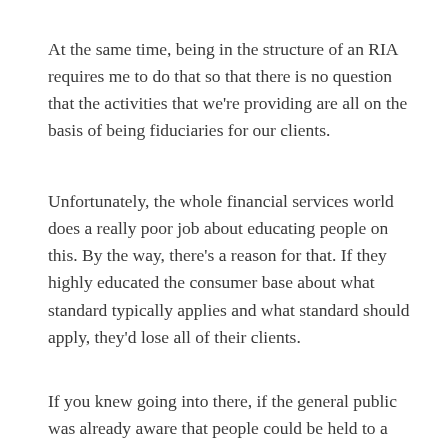At the same time, being in the structure of an RIA requires me to do that so that there is no question that the activities that we're providing are all on the basis of being fiduciaries for our clients.
Unfortunately, the whole financial services world does a really poor job about educating people on this. By the way, there's a reason for that. If they highly educated the consumer base about what standard typically applies and what standard should apply, they'd lose all of their clients.
If you knew going into there, if the general public was already aware that people could be held to a lower standard for what they were doing and sell something that paid their adviser more, but wasn't necessarily in the client's best interest, clients would revolt. We'd be grabbing pitchforks and we'd be storming the buildings